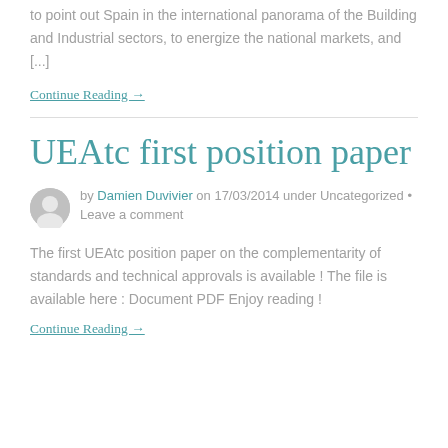to point out Spain in the international panorama of the Building and Industrial sectors, to energize the national markets, and [...]
Continue Reading →
UEAtc first position paper
by Damien Duvivier on 17/03/2014 under Uncategorized • Leave a comment
The first UEAtc position paper on the complementarity of standards and technical approvals is available ! The file is available here : Document PDF Enjoy reading !
Continue Reading →